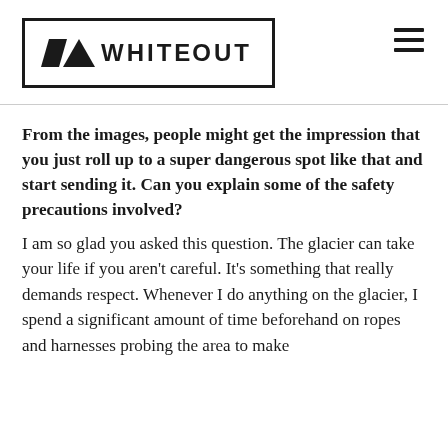[Figure (logo): Whiteout logo: a black rectangle border containing mountain/arrow icons and the text WHITEOUT in bold uppercase]
From the images, people might get the impression that you just roll up to a super dangerous spot like that and start sending it. Can you explain some of the safety precautions involved?
I am so glad you asked this question. The glacier can take your life if you aren't careful. It's something that really demands respect. Whenever I do anything on the glacier, I spend a significant amount of time beforehand on ropes and harnesses probing the area to make